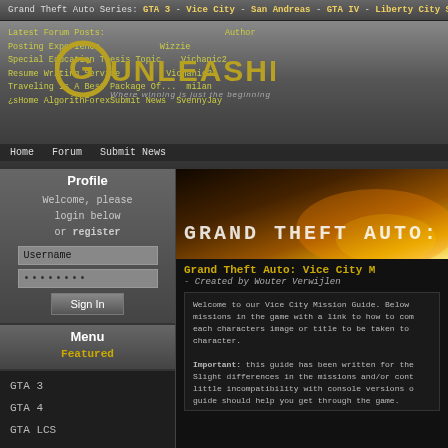Grand Theft Auto Series: GTA 3 - Vice City - San Andreas - GTA IV - Liberty City Stories
Latest Forum Posts:   Author
Posting Experience   Wizzie
Special Education Thesis Topic   Vichanic2
Resume Writing Service   Vichanic2
Traveling Is A Best Package Of...   milan
¿sHome AlgorithForexSubmit News   SvennyJay
[Figure (logo): G Unleashed logo - Where winning is just the beginning]
Profile
Welcome, please login below or register
Username [input field]
******** [password field]
Sign In [button]
Menu
Featured
GTA 3
GTA 4
GTA LCS
GTA SA
GTA VC
100% Completion
Asset Property
[Figure (screenshot): Grand Theft Auto Vice City banner image with orange/fire background]
Grand Theft Auto: Vice City M
- Created by Wouter Verwijlen
Welcome to our Vice City Mission Guide. Below missions in the game with a link to how to com each characters image or title to be taken to character.

Important: this guide has been written for the Slight differences in the missions and/or cont little incompatibility with console versions o guide should help you get through the game.